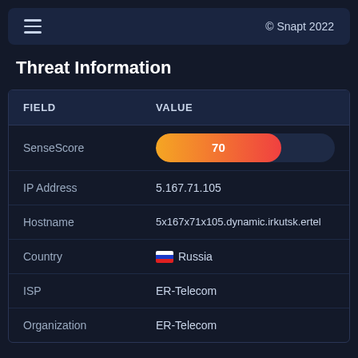© Snapt 2022
Threat Information
| FIELD | VALUE |
| --- | --- |
| SenseScore | 70 |
| IP Address | 5.167.71.105 |
| Hostname | 5x167x71x105.dynamic.irkutsk.ertel |
| Country | Russia |
| ISP | ER-Telecom |
| Organization | ER-Telecom |